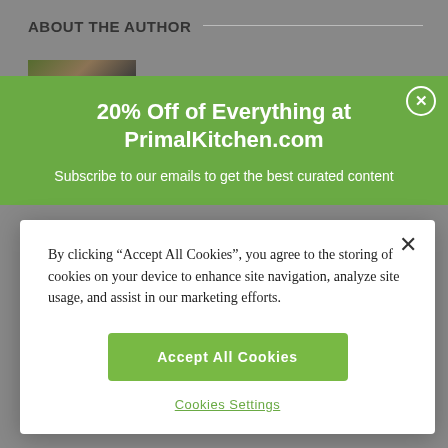ABOUT THE AUTHOR
[Figure (photo): Author photo thumbnail, partially visible in the background]
[Figure (infographic): Green promotional modal overlay: '20% Off of Everything at PrimalKitchen.com — Subscribe to our emails to get the best curated content']
By clicking “Accept All Cookies”, you agree to the storing of cookies on your device to enhance site navigation, analyze site usage, and assist in our marketing efforts.
Accept All Cookies
Cookies Settings